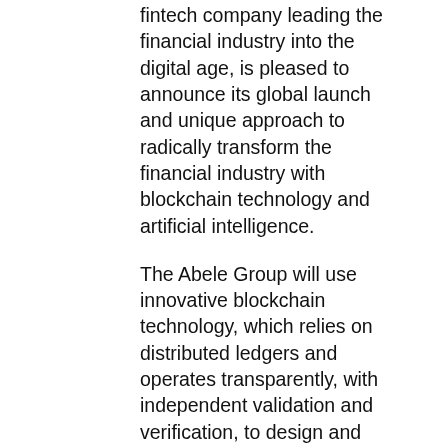fintech company leading the financial industry into the digital age, is pleased to announce its global launch and unique approach to radically transform the financial industry with blockchain technology and artificial intelligence.
The Abele Group will use innovative blockchain technology, which relies on distributed ledgers and operates transparently, with independent validation and verification, to design and launch four phases of the organization including:
Abele Trust (PHASE 1), one of the world's first fully-digital custodians which exclusively stores and safeguard investor assets, digital coins and tokens in an institutionally secure manner.
Abele Chain (PHASE 2), a fourth-generation hybrid blockchain that is an